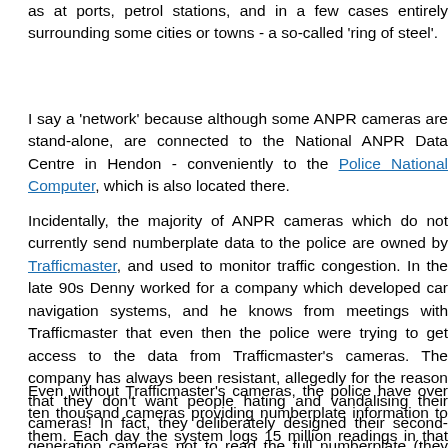ANPR cameras which can be found on most motorways and main roads, as at ports, petrol stations, and in a few cases entirely surrounding some cities or towns - a so-called 'ring of steel'.
I say a 'network' because although some ANPR cameras are stand-alone, are connected to the National ANPR Data Centre in Hendon - conveniently to the Police National Computer, which is also located there.
Incidentally, the majority of ANPR cameras which do not currently send numberplate data to the police are owned by Trafficmaster, and used to monitor traffic congestion. In the late 90s Denny worked for a company which developed car navigation systems, and he knows from meetings with Trafficmaster that even then the police were trying to get access to the data from Trafficmaster's cameras. The company has always been resistant, allegedly for the reason that they don't want people hating and vandalising their cameras! In fact, they deliberately designed their second-generation cameras not to read the full numberplate (they only read and store the central four characters) to limit their potential usefulness to the police. It's quite an achievement that Trafficmaster have managed to hold out this long.
Even without Trafficmaster's cameras, the police have over ten thousand cameras providing numberplate information to them. Each day the system logs 15 million readings in that central database, where they are retained for between 2 and 5 years. Some of the cameras also take photos of the